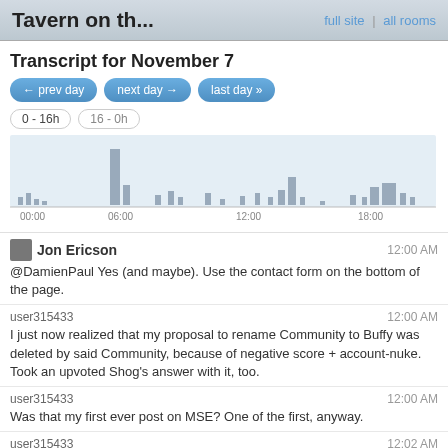Tavern on th... | full site | all rooms
Transcript for November 7
[Figure (bar-chart): Message activity by hour]
Jon Ericson — 12:00 AM
@DamienPaul Yes (and maybe). Use the contact form on the bottom of the page.
user315433 — 12:00 AM
I just now realized that my proposal to rename Community to Buffy was deleted by said Community, because of negative score + account-nuke. Took an upvoted Shog's answer with it, too.
user315433 — 12:00 AM
Was that my first ever post on MSE? One of the first, anyway.
user315433 — 12:02 AM
Oh well. Out of the extant posts of mine, Remove the reputation reduction (-2) for downvotes received is probably the lowest-scored, at -21.
user325633 — 12:09 AM